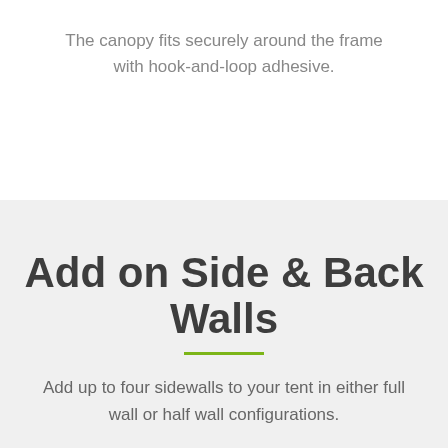The canopy fits securely around the frame with hook-and-loop adhesive.
Add on Side & Back Walls
Add up to four sidewalls to your tent in either full wall or half wall configurations.